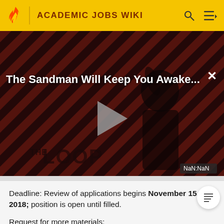ACADEMIC JOBS WIKI
[Figure (screenshot): Video thumbnail showing 'The Sandman Will Keep You Awake...' with dark red diagonal striped background, a dark figure, THE LOOP logo, a gray play button triangle in the center, and NaN:NaN time display. Close (X) button in top right.]
Deadline: Review of applications begins November 15, 2018; position is open until filled.
Request for more materials: